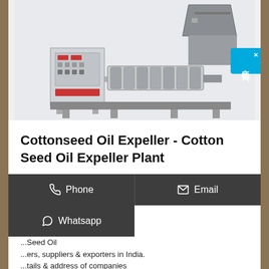[Figure (photo): A cottonseed oil expeller machine with a control panel on the left and a screw press mechanism with hopper on the right, on a light gray background.]
Cottonseed Oil Expeller - Cotton Seed Oil Expeller Plant
Phone | Email | Whatsapp (contact buttons)
...Seed Oil ...ers, suppliers & exporters in India. ...tails & address of companies manufacturing and supplying Cottonseed Oil Expeller, Cotton Seed Oil Expeller, Cotton Seed Oil Expeller...